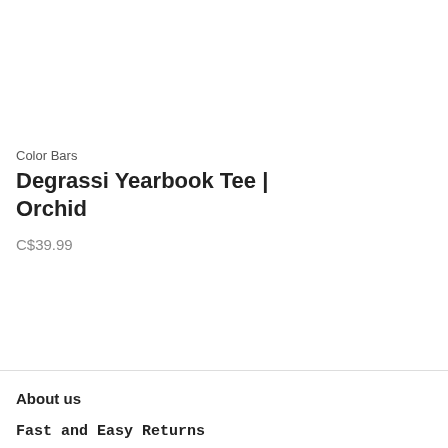Color Bars
Degrassi Yearbook Tee | Orchid
C$39.99
About us
Fast and Easy Returns